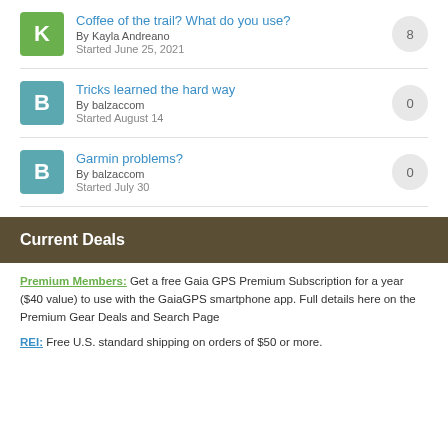Coffee of the trail? What do you use? By Kayla Andreano Started June 25, 2021 — 8 replies
Tricks learned the hard way By balzaccom Started August 14 — 0 replies
Garmin problems? By balzaccom Started July 30 — 0 replies
Current Deals
Premium Members: Get a free Gaia GPS Premium Subscription for a year ($40 value) to use with the GaiaGPS smartphone app. Full details here on the Premium Gear Deals and Search Page
REI: Free U.S. standard shipping on orders of $50 or more.